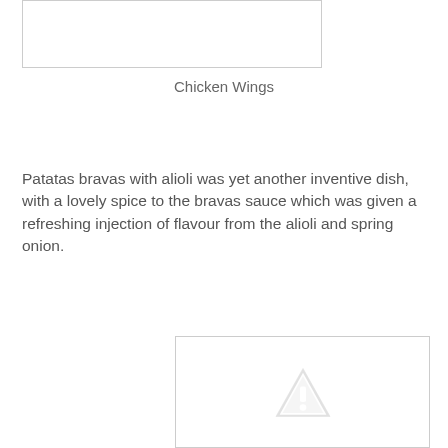[Figure (photo): Partially visible image box at top, likely showing Chicken Wings dish, appears mostly white/empty in cropped view]
Chicken Wings
Patatas bravas with alioli was yet another inventive dish, with a lovely spice to the bravas sauce which was given a refreshing injection of flavour from the alioli and spring onion.
[Figure (photo): Image placeholder with warning/broken image triangle exclamation icon, indicating missing image]